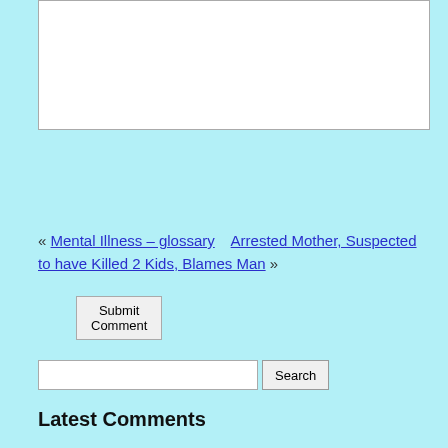[Figure (other): Comment text area input box (white rectangle)]
Submit Comment
« Mental Illness – glossary    Arrested Mother, Suspected to have Killed 2 Kids, Blames Man »
Search
Latest Comments